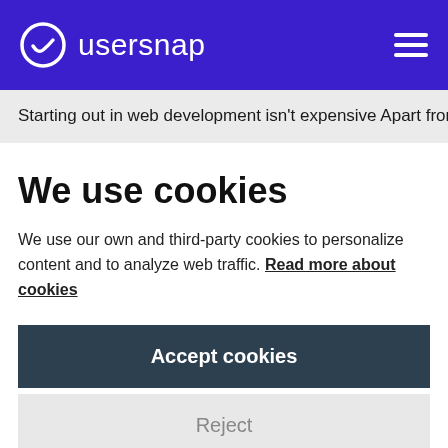usersnap
Starting out in web development isn't expensive Apart from your hardware. There are some great software products out
We use cookies
We use our own and third-party cookies to personalize content and to analyze web traffic. Read more about cookies
Accept cookies
Reject